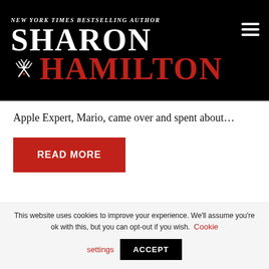NEW YORK TIMES BESTSELLING AUTHOR SHARON HAMILTON
Apple Expert, Mario, came over and spent about…
READ MORE
This website uses cookies to improve your experience. We'll assume you're ok with this, but you can opt-out if you wish. Cookie settings ACCEPT